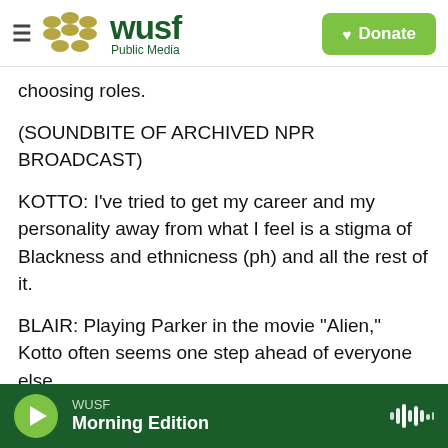[Figure (logo): WUSF Public Media logo with hamburger menu and Donate button]
choosing roles.
(SOUNDBITE OF ARCHIVED NPR BROADCAST)
KOTTO: I've tried to get my career and my personality away from what I feel is a stigma of Blackness and ethnicness (ph) and all the rest of it.
BLAIR: Playing Parker in the movie "Alien," Kotto often seems one step ahead of everyone else.
(SOUNDBITE OF FILM, "ALIEN")
KOTTO: (As Parker) It's got a wonderful defense
WUSF — Morning Edition